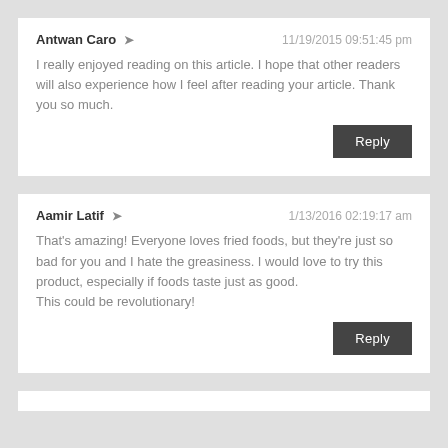Antwan Caro ➜   11/19/2015 09:51:45 pm
I really enjoyed reading on this article. I hope that other readers will also experience how I feel after reading your article. Thank you so much.
Reply
Aamir Latif ➜   1/13/2016 02:19:17 am
That's amazing! Everyone loves fried foods, but they're just so bad for you and I hate the greasiness. I would love to try this product, especially if foods taste just as good.
This could be revolutionary!
Reply